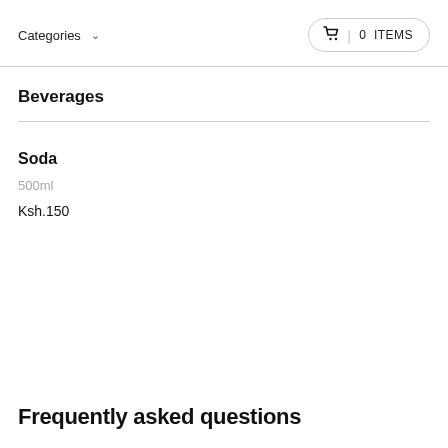Categories  ∨  🛒 | 0 ITEMS
Beverages
Soda
500ml
Ksh.150
Frequently asked questions